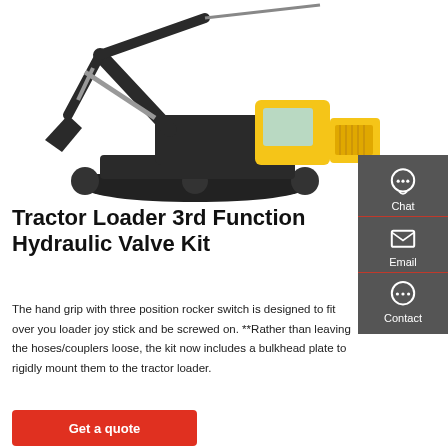[Figure (photo): Hyundai excavator / tractor loader on white background]
Tractor Loader 3rd Function Hydraulic Valve Kit
The hand grip with three position rocker switch is designed to fit over you loader joy stick and be screwed on. **Rather than leaving the hoses/couplers loose, the kit now includes a bulkhead plate to rigidly mount them to the tractor loader.
Get a quote